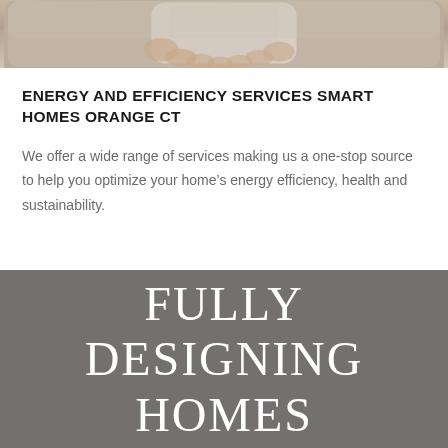[Figure (photo): Photo of a hand holding a smartphone, cropped at top of page showing partial view]
ENERGY AND EFFICIENCY SERVICES SMART HOMES ORANGE CT
We offer a wide range of services making us a one-stop source to help you optimize your home’s energy efficiency, health and sustainability.
FULLY DESIGNING HOMES